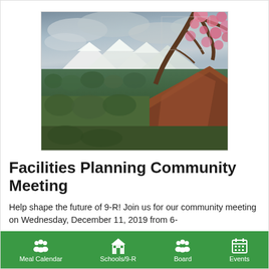[Figure (photo): Landscape photo showing a scenic Colorado view with mountains in the background, forested valley below, a red dirt hillside in the center, and a flowering tree with pink blossoms in the upper right corner under a partly cloudy sky.]
Facilities Planning Community Meeting
Help shape the future of 9-R! Join us for our community meeting on Wednesday, December 11, 2019 from 6-
Meal Calendar   Schools/9-R   Board   Events